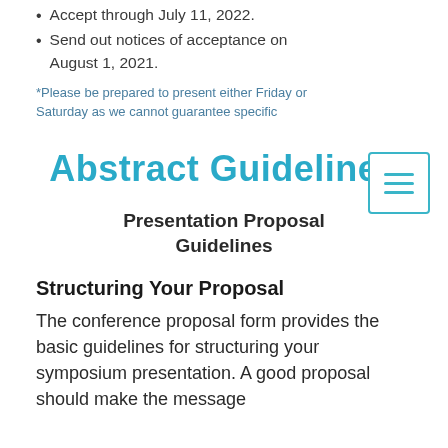Accept through July 11, 2022.
Send out notices of acceptance on August 1, 2021.
*Please be prepared to present either Friday or Saturday as we cannot guarantee specific
Abstract Guidelines
Presentation Proposal Guidelines
Structuring Your Proposal
The conference proposal form provides the basic guidelines for structuring your symposium presentation. A good proposal should make the message